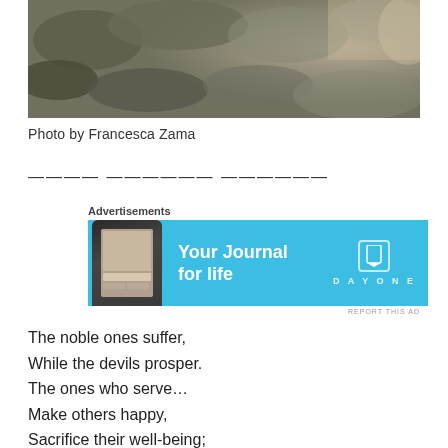[Figure (photo): Close-up photograph of rocky, mossy terrain with grey and brown tones, snow or frost visible]
Photo by Francesca Zama
———— —————— ——————
Advertisements
[Figure (infographic): Day One app advertisement banner: 'Your Journal for life' on blue background with phone image and Day One logo]
The noble ones suffer,
While the devils prosper.
The ones who serve…
Make others happy,
Sacrifice their well-being;
For the good of others,